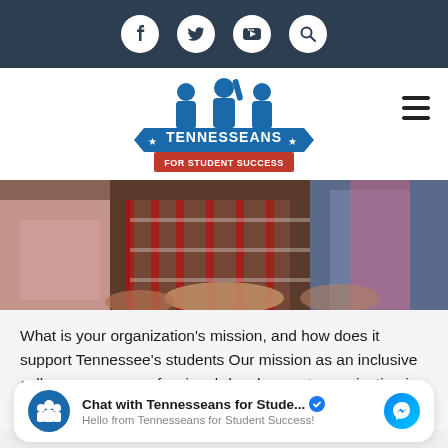[Figure (screenshot): Dark navy top navigation bar with social media icons: Facebook, Twitter, YouTube, and Search (magnifying glass), displayed as white icons on white circular backgrounds.]
[Figure (logo): Tennesseans for Student Success logo — blue silhouettes of students with raised hands above a blue banner reading TENNESSEANS FOR STUDENT SUCCESS in white and red text.]
[Figure (photo): Hero photo showing students collaborating, hands visible on a desk, colorful clothing including plaid and pink scarf.]
What is your organization's mission, and how does it support Tennessee's students Our mission as an inclusive college-success professional-development organization is to help prepare and... more
[Figure (screenshot): Facebook Messenger chat widget: Tennesseans for Student Success logo on left, bold title 'Chat with Tennesseans for Stude...' with verified checkmark, subtext 'Hello from Tennesseans for Student Success!', and blue Messenger icon on right.]